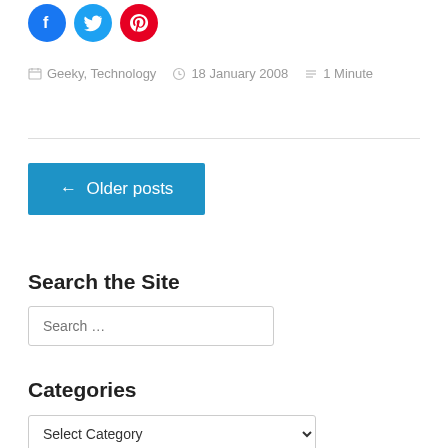[Figure (other): Three social media icon circles: Facebook (blue), Twitter (light blue), Pinterest (red)]
Geeky, Technology   18 January 2008   1 Minute
← Older posts
Search the Site
Search …
Categories
Select Category